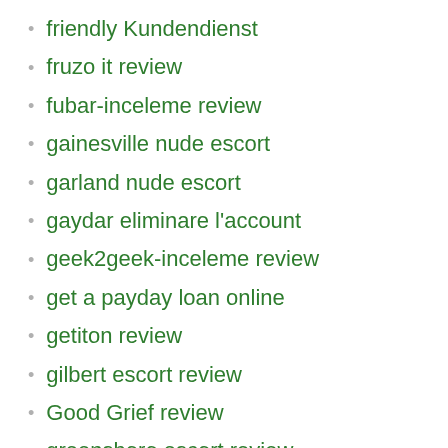friendly Kundendienst
fruzo it review
fubar-inceleme review
gainesville nude escort
garland nude escort
gaydar eliminare l'account
geek2geek-inceleme review
get a payday loan online
getiton review
gilbert escort review
Good Grief review
greensboro escort review